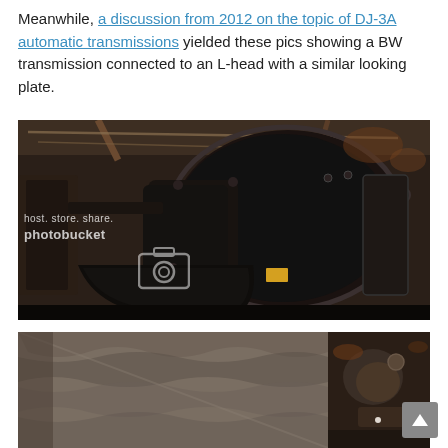Meanwhile, a discussion from 2012 on the topic of DJ-3A automatic transmissions yielded these pics showing a BW transmission connected to an L-head with a similar looking plate.
[Figure (photo): Photograph of a BW automatic transmission connected to an L-head engine, viewed from below/underneath a vehicle. The transmission housing is large and dark/black metal, with bolt flanges visible. A Photobucket watermark reads 'host. store. share.' overlaid on the image.]
[Figure (photo): Second photograph showing a close-up of a metal adapter plate or bellhousing, dark grey/silver metal with ribbed or corrugated surfaces, viewed from below with other drivetrain components visible in background.]